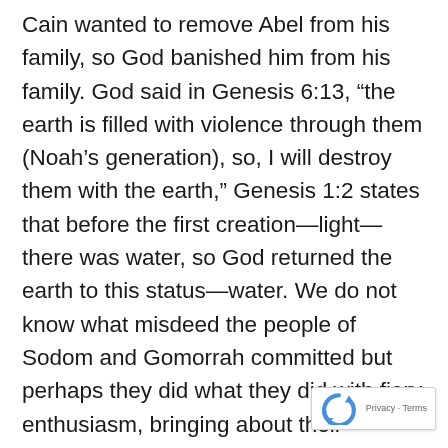Cain wanted to remove Abel from his family, so God banished him from his family. God said in Genesis 6:13, “the earth is filled with violence through them (Noah’s generation), so, I will destroy them with the earth,” Genesis 1:2 states that before the first creation—light—there was water, so God returned the earth to this status—water. We do not know what misdeed the people of Sodom and Gomorrah committed but perhaps they did what they did with fiery enthusiasm, bringing about their destruction with fire. The Egyptians killed male Israelite children by tossing them into the river (Exodus 1:22) so the plagues